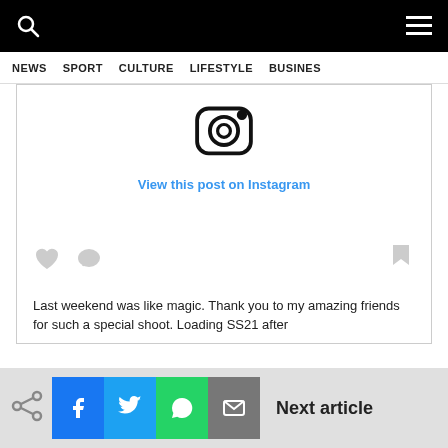NEWS   SPORT   CULTURE   LIFESTYLE   BUSINESS
[Figure (screenshot): Instagram post embed showing Instagram logo icon and a 'View this post on Instagram' link, with like/comment/share icons below, and partial caption text: 'Last weekend was like magic. Thank you to my amazing friends for such a special shoot. Loading SS21 after']
Last weekend was like magic. Thank you to my amazing friends for such a special shoot. Loading SS21 after
Next article